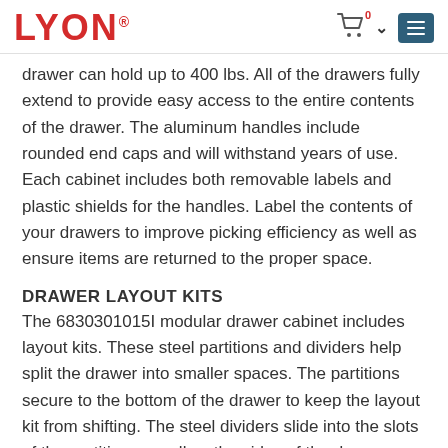LYON
drawer can hold up to 400 lbs. All of the drawers fully extend to provide easy access to the entire contents of the drawer. The aluminum handles include rounded end caps and will withstand years of use. Each cabinet includes both removable labels and plastic shields for the handles. Label the contents of your drawers to improve picking efficiency as well as ensure items are returned to the proper space.
DRAWER LAYOUT KITS
The 6830301015I modular drawer cabinet includes layout kits. These steel partitions and dividers help split the drawer into smaller spaces. The partitions secure to the bottom of the drawer to keep the layout kit from shifting. The steel dividers slide into the slots of the partition as well as the sides of the drawer. Easily move or remove dividers to create the best layout for your stored items. A slight flange on the divider